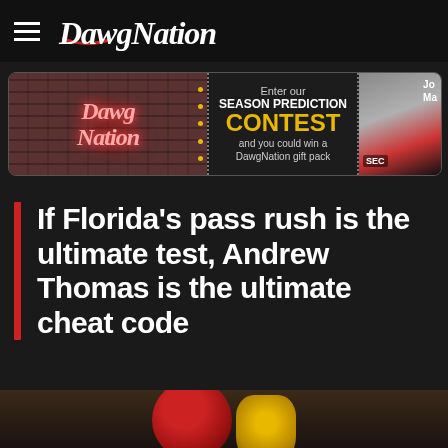DawgNation
[Figure (other): DawgNation Season Prediction Contest advertisement banner with neon logo on brick background on left, text 'Enter our SEASON PREDICTION CONTEST and you could win a DawgNation gift pack' in center, and athlete headshot on right]
If Florida’s pass rush is the ultimate test, Andrew Thomas is the ultimate cheat code
[Figure (photo): Football player in Georgia Bulldogs uniform at bottom of page, partially cropped]